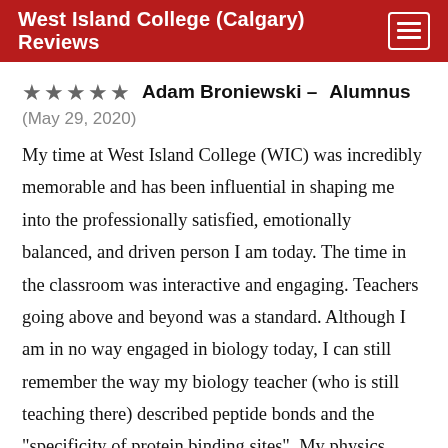West Island College (Calgary) Reviews
Adam Broniewski – Alumnus (May 29, 2020)
My time at West Island College (WIC) was incredibly memorable and has been influential in shaping me into the professionally satisfied, emotionally balanced, and driven person I am today. The time in the classroom was interactive and engaging. Teachers going above and beyond was a standard. Although I am in no way engaged in biology today, I can still remember the way my biology teacher (who is still teaching there) described peptide bonds and the "specificity of protein binding sites". My physics classroom was filled with